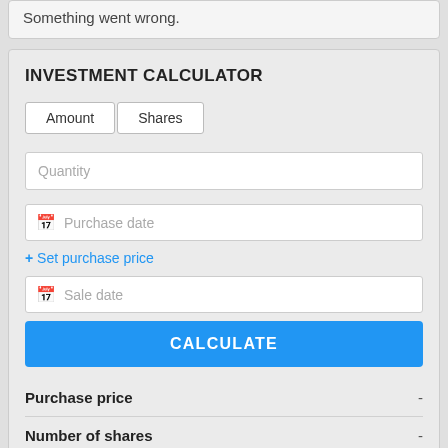Something went wrong.
INVESTMENT CALCULATOR
Amount   Shares
Quantity
Purchase date
+ Set purchase price
Sale date
CALCULATE
Purchase price   -
Number of shares   -
Sale Price   -